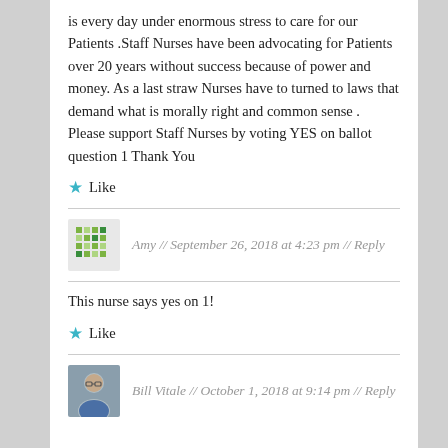is every day under enormous stress to care for our Patients .Staff Nurses have been advocating for Patients over 20 years without success because of power and money. As a last straw Nurses have to turned to laws that demand what is morally right and common sense . Please support Staff Nurses by voting YES on ballot question 1 Thank You
★ Like
Amy // September 26, 2018 at 4:23 pm // Reply
This nurse says yes on 1!
★ Like
Bill Vitale // October 1, 2018 at 9:14 pm // Reply